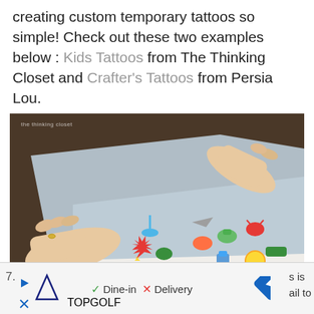creating custom temporary tattoos so simple! Check out these two examples below : Kids Tattoos from The Thinking Closet and Crafter's Tattoos from Persia Lou.
[Figure (photo): Hands peeling back a translucent blue sheet from a printed page of colorful kids temporary tattoos including lizards, sharks, robots, crabs, and star-burst shapes. Watermark reads 'the thinking closet'.]
7. s is ail to